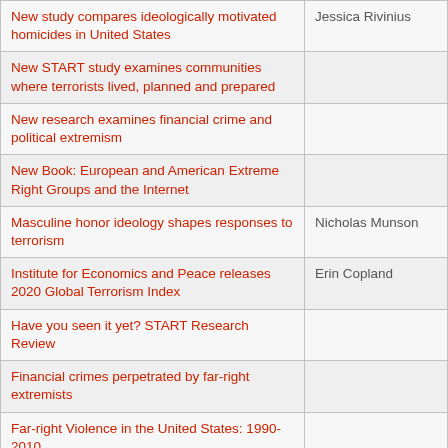| Title | Author |
| --- | --- |
| New study compares ideologically motivated homicides in United States | Jessica Rivinius |
| New START study examines communities where terrorists lived, planned and prepared |  |
| New research examines financial crime and political extremism |  |
| New Book: European and American Extreme Right Groups and the Internet |  |
| Masculine honor ideology shapes responses to terrorism | Nicholas Munson |
| Institute for Economics and Peace releases 2020 Global Terrorism Index | Erin Copland |
| Have you seen it yet? START Research Review |  |
| Financial crimes perpetrated by far-right extremists |  |
| Far-right Violence in the United States: 1990-2010 |  |
| A perfect storm for far-right extremism | Arie W. Kruglanski, Karl Kaltenthaler |